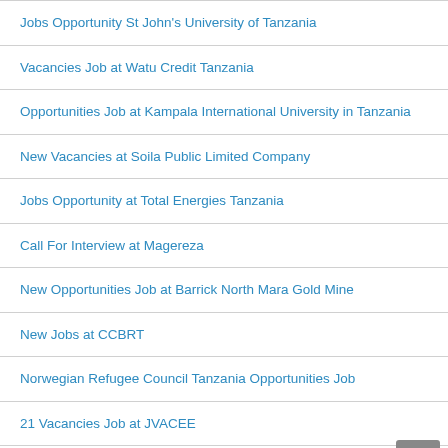Jobs Opportunity St John's University of Tanzania
Vacancies Job at Watu Credit Tanzania
Opportunities Job at Kampala International University in Tanzania
New Vacancies at Soila Public Limited Company
Jobs Opportunity at Total Energies Tanzania
Call For Interview at Magereza
New Opportunities Job at Barrick North Mara Gold Mine
New Jobs at CCBRT
Norwegian Refugee Council Tanzania Opportunities Job
21 Vacancies Job at JVACEE
Opportunities Jobs at KCB Bank Tanzania
New Opportunities at Tanzania Wildlife Management Authority (TAWA)